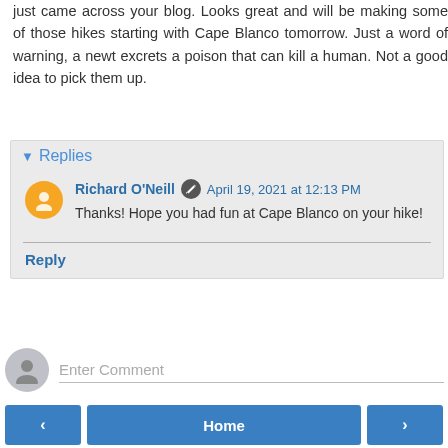just came across your blog. Looks great and will be making some of those hikes starting with Cape Blanco tomorrow. Just a word of warning, a newt excrets a poison that can kill a human. Not a good idea to pick them up.
Reply
Replies
Richard O'Neill   April 19, 2021 at 12:13 PM
Thanks! Hope you had fun at Cape Blanco on your hike!
Reply
Enter Comment